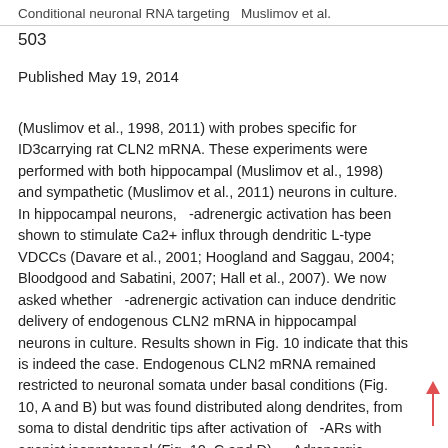Conditional neuronal RNA targeting   Muslimov et al.
503
Published May 19, 2014
(Muslimov et al., 1998, 2011) with probes specific for ID3carrying rat CLN2 mRNA. These experiments were performed with both hippocampal (Muslimov et al., 1998) and sympathetic (Muslimov et al., 2011) neurons in culture. In hippocampal neurons,   -adrenergic activation has been shown to stimulate Ca2+ influx through dendritic L-type VDCCs (Davare et al., 2001; Hoogland and Saggau, 2004; Bloodgood and Sabatini, 2007; Hall et al., 2007). We now asked whether   -adrenergic activation can induce dendritic delivery of endogenous CLN2 mRNA in hippocampal neurons in culture. Results shown in Fig. 10 indicate that this is indeed the case. Endogenous CLN2 mRNA remained restricted to neuronal somata under basal conditions (Fig. 10, A and B) but was found distributed along dendrites, from soma to distal dendritic tips after activation of   -ARs with agonist isoproterenol (Fig. 10, C and D).   -Adrenergic induction of CLN2 mRNA transport was prevented by